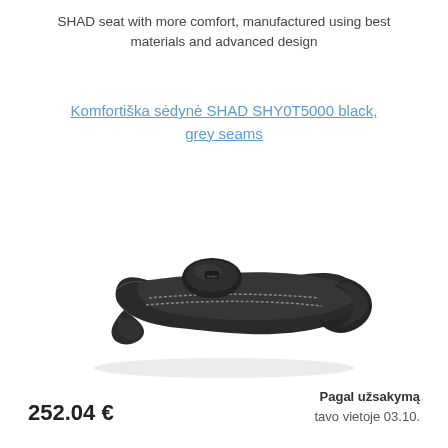SHAD seat with more comfort, manufactured using best materials and advanced design
Komfortiška sėdynė SHAD SHY0T5000 black, grey seams
[Figure (photo): SHAD motorcycle comfort seat SHY0T5000, black with grey seams, shown at an angle displaying the ergonomic shape with a passenger lumbar support bump and textured stitching along the edges.]
252.04 €
Pagal užsakymą tavo vietoje 03.10.